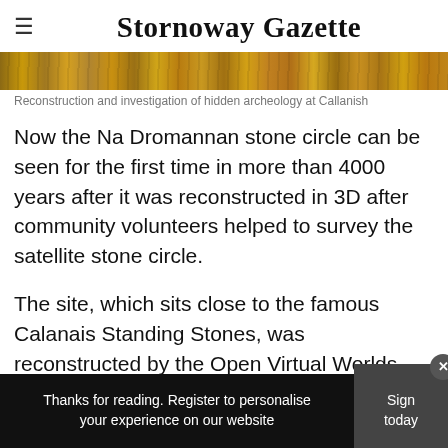Stornoway Gazette
[Figure (photo): Landscape strip image showing reconstruction and investigation of hidden archeology at Callanish - appears as a golden/brown textured panoramic strip.]
Reconstruction and investigation of hidden archeology at Callanish
Now the Na Dromannan stone circle can be seen for the first time in more than 4000 years after it was reconstructed in 3D after community volunteers helped to survey the satellite stone circle.
The site, which sits close to the famous Calanais Standing Stones, was reconstructed by the Open Virtual Worlds Team at St Andrews
Thanks for reading. Register to personalise your experience on our website